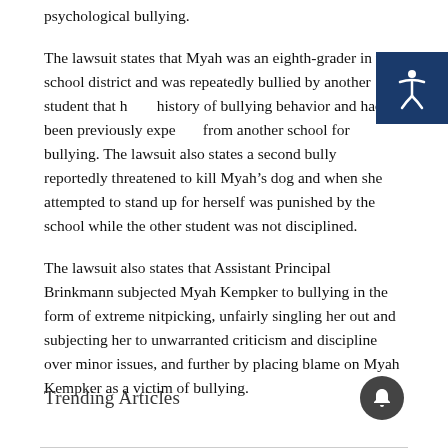psychological bullying.
The lawsuit states that Myah was an eighth-grader in the school district and was repeatedly bullied by another student that had a history of bullying behavior and had been previously expelled from another school for bullying. The lawsuit also states a second bully reportedly threatened to kill Myah’s dog and when she attempted to stand up for herself was punished by the school while the other student was not disciplined.
The lawsuit also states that Assistant Principal Brinkmann subjected Myah Kempker to bullying in the form of extreme nitpicking, unfairly singling her out and subjecting her to unwarranted criticism and discipline over minor issues, and further by placing blame on Myah Kempker as a victim of bullying.
Trending Articles